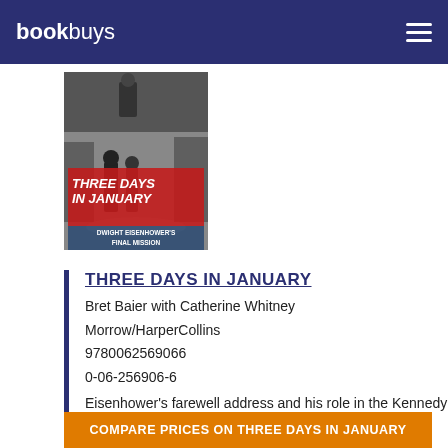bookbuys
[Figure (photo): Book cover of 'Three Days in January: Dwight Eisenhower's Final Mission' by Bret Baier with Catherine Whitney. Shows two figures walking on a path, with red bold title text on a gray background.]
THREE DAYS IN JANUARY
Bret Baier with Catherine Whitney
Morrow/HarperCollins
9780062569066
0-06-256906-6
Eisenhower's farewell address and his role in the Kennedy transition.
COMPARE PRICES ON THREE DAYS IN JANUARY